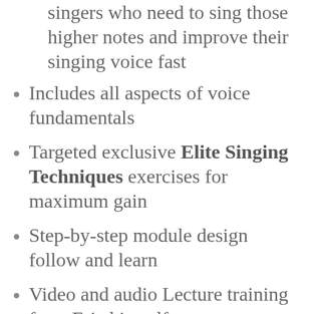singers who need to sing those higher notes and improve their singing voice fast
Includes all aspects of voice fundamentals
Targeted exclusive Elite Singing Techniques exercises for maximum gain
Step-by-step module design follow and learn
Video and audio Lecture training from Eric himself
Progress tracking and voice review to guarantee results
Two powerful bonus courses that compliment the main lessons.